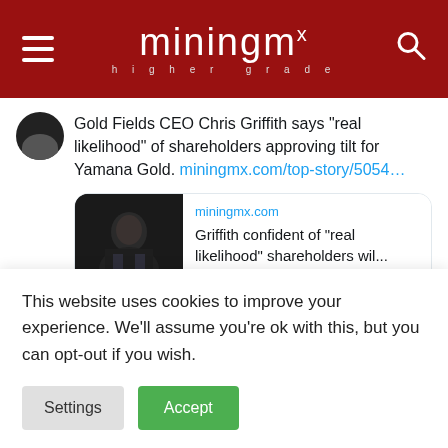miningmx higher grade
Gold Fields CEO Chris Griffith says "real likelihood" of shareholders approving tilt for Yamana Gold. miningmx.com/top-story/5054…
[Figure (screenshot): Embedded article card showing miningmx.com logo/domain and headline: Griffith confident of "real likelihood" shareholders wil...]
Miningmx @miningmx · Aug 26
This website uses cookies to improve your experience. We'll assume you're ok with this, but you can opt-out if you wish.